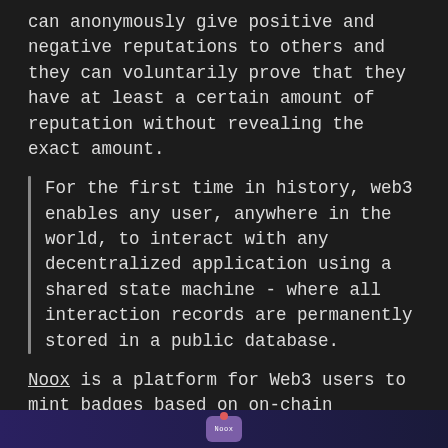can anonymously give positive and negative reputations to others and they can voluntarily prove that they have at least a certain amount of reputation without revealing the exact amount.
For the first time in history, web3 enables any user, anywhere in the world, to interact with any decentralized application using a shared state machine - where all interaction records are permanently stored in a public database.
Noox is a platform for Web3 users to mint badges based on on-chain actions. These badges will be Soulbound NFTs that cannot be transferred. In this way, the NFTs that people own are unique identifiers and may be used as their on-chain identity to unlock new opportunities.
[Figure (logo): Footer bar with purple background and a small Noox logo icon with a red dot at the top]